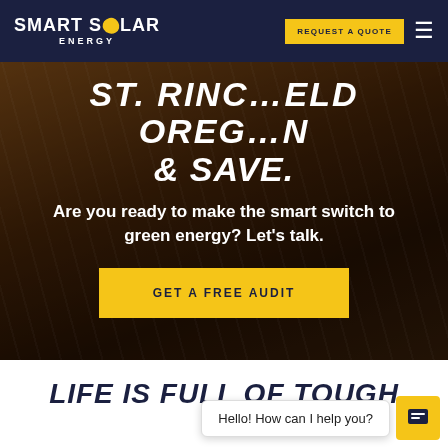SMART SOLAR ENERGY — REQUEST A QUOTE [navbar]
& SAVE.
Are you ready to make the smart switch to green energy? Let's talk.
GET A FREE AUDIT
LIFE IS FULL OF TOUGH
Hello! How can I help you?